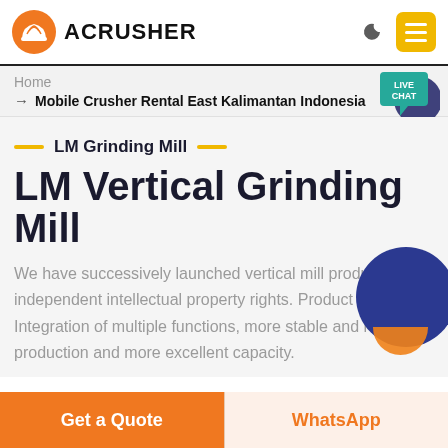[Figure (logo): Acrusher logo with orange hard hat icon and bold ACRUSHER text]
Home > Mobile Crusher Rental East Kalimantan Indonesia
LM Grinding Mill
LM Vertical Grinding Mill
We have successively launched vertical mill products with independent intellectual property rights. Product Featu... Integration of multiple functions, more stable and reliab... production and more excellent capacity.
Get a Quote
WhatsApp